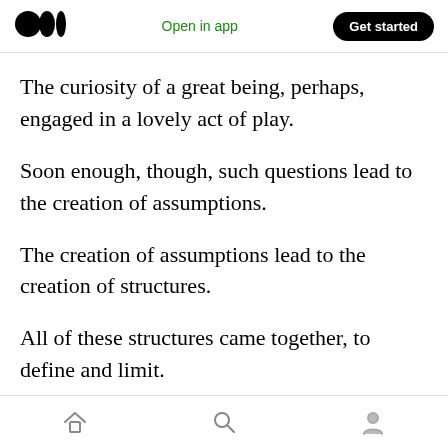Medium logo | Open in app | Get started
The curiosity of a great being, perhaps, engaged in a lovely act of play.
Soon enough, though, such questions lead to the creation of assumptions.
The creation of assumptions lead to the creation of structures.
All of these structures came together, to define and limit.
Yet, within the definitions and limits of such
Home | Search | Profile